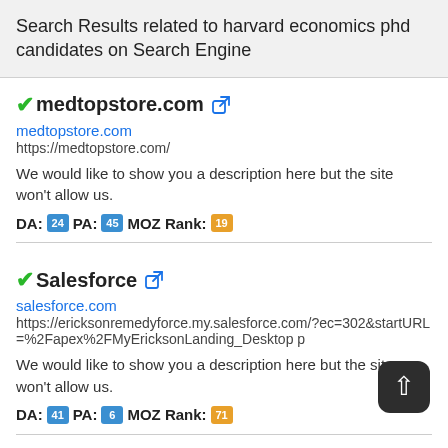Search Results related to harvard economics phd candidates on Search Engine
✓medtopstore.com 🔗
medtopstore.com
https://medtopstore.com/
We would like to show you a description here but the site won't allow us.
DA: 24 PA: 45 MOZ Rank: 19
✓Salesforce 🔗
salesforce.com
https://ericksonremedyforce.my.salesforce.com/?ec=302&startURL=%2Fapex%2FMyEricksonLanding_Desktop p
We would like to show you a description here but the site won't allow us.
DA: 41 PA: 6 MOZ Rank: 71